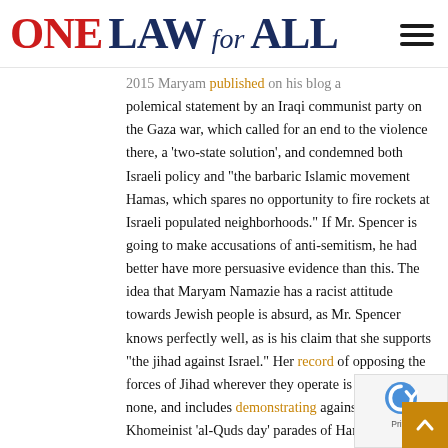ONE LAW for ALL
2015 Maryam published on his blog a polemical statement by an Iraqi communist party on the Gaza war, which called for an end to the violence there, a 'two-state solution', and condemned both Israeli policy and "the barbaric Islamic movement Hamas, which spares no opportunity to fire rockets at Israeli populated neighborhoods." If Mr. Spencer is going to make accusations of anti-semitism, he had better have more persuasive evidence than this. The idea that Maryam Namazie has a racist attitude towards Jewish people is absurd, as Mr. Spencer knows perfectly well, as is his claim that she supports "the jihad against Israel." Her record of opposing the forces of Jihad wherever they operate is second-to-none, and includes demonstrating against the Khomeinist 'al-Quds day' parades of Hamas and Hezbollah.